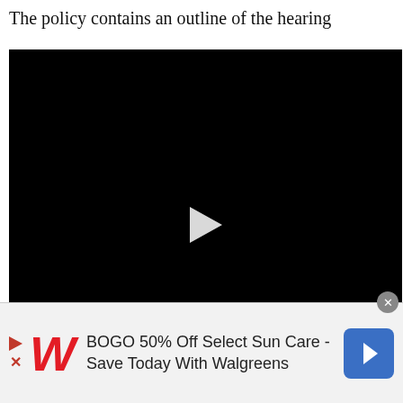The policy contains an outline of the hearing p... s... h... a...
[Figure (other): Black video player overlay with white play button triangle in center]
I... h... s... Such changes may make the students of the household eligible for reduced-price meals, free meals, or free milk, if the household income falls at or below the levels shown in the
[Figure (other): Advertisement banner for Walgreens: BOGO 50% Off Select Sun Care - Save Today With Walgreens, with Walgreens cursive logo and blue navigation icon]